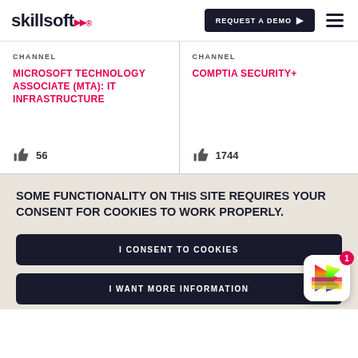skillsoft — REQUEST A DEMO
CHANNEL
MICROSOFT TECHNOLOGY ASSOCIATE (MTA): IT INFRASTRUCTURE
👍 56
CHANNEL
COMPTIA SECURITY+
👍 1744
SOME FUNCTIONALITY ON THIS SITE REQUIRES YOUR CONSENT FOR COOKIES TO WORK PROPERLY.
I CONSENT TO COOKIES
I WANT MORE INFORMATION